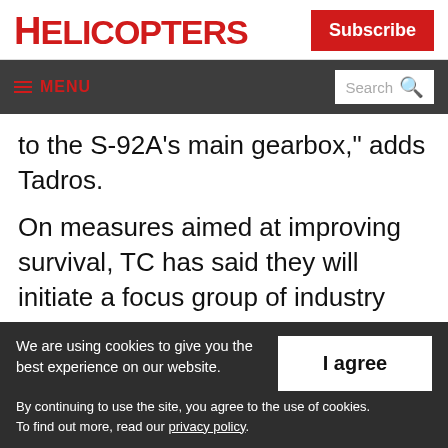HELICOPTERS
Subscribe
≡ MENU  Search
to the S-92A's main gearbox," adds Tadros.
On measures aimed at improving survival, TC has said they will initiate a focus group of industry stakeholders to review the last two TSB recommendations. "This is a positive first step," said Tadros. "At the end of the day,
We are using cookies to give you the best experience on our website.
By continuing to use the site, you agree to the use of cookies.
To find out more, read our privacy policy.
I agree